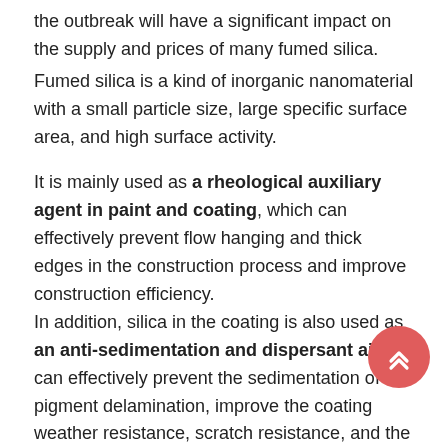the outbreak will have a significant impact on the supply and prices of many fumed silica.
Fumed silica is a kind of inorganic nanomaterial with a small particle size, large specific surface area, and high surface activity.
It is mainly used as a rheological auxiliary agent in paint and coating, which can effectively prevent flow hanging and thick edges in the construction process and improve construction efficiency.
In addition, silica in the coating is also used as an anti-sedimentation and dispersant aid, can effectively prevent the sedimentation of the pigment delamination, improve the coating weather resistance, scratch resistance, and the bonding strength between the coating and the substrate.
Fumed silica is an ideal anti-sedimentation agent, its hydrogen bond structure is very stable and uniform, and it is a three